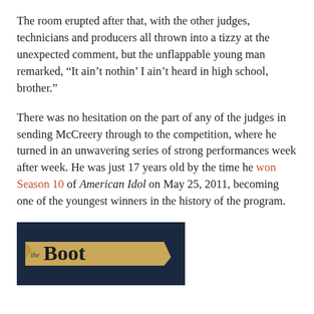The room erupted after that, with the other judges, technicians and producers all thrown into a tizzy at the unexpected comment, but the unflappable young man remarked, “It ain't nothin' I ain't heard in high school, brother.”
There was no hesitation on the part of any of the judges in sending McCreery through to the competition, where he turned in an unwavering series of strong performances week after week. He was just 17 years old by the time he won Season 10 of American Idol on May 25, 2011, becoming one of the youngest winners in the history of the program.
[Figure (logo): The Boot logo on a dark navy background with a tan/parchment colored banner]